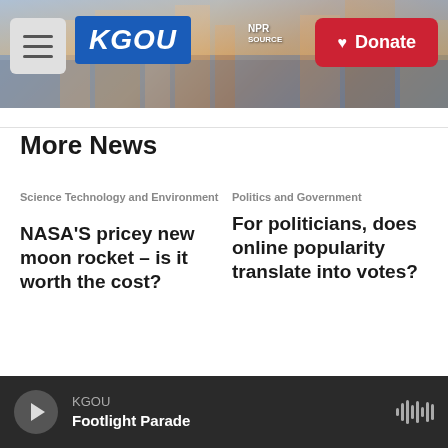KGOU — NPR Source | Donate
More News
Science Technology and Environment
NASA'S pricey new moon rocket – is it worth the cost?
Politics and Government
For politicians, does online popularity translate into votes?
KGOU  Footlight Parade